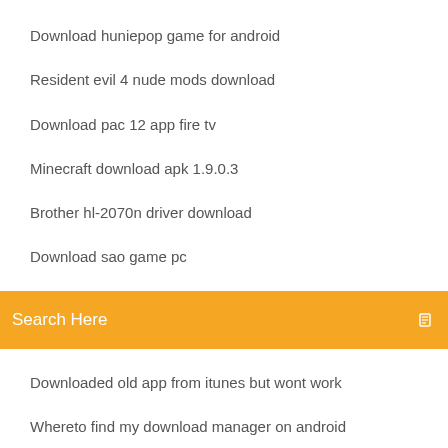Download huniepop game for android
Resident evil 4 nude mods download
Download pac 12 app fire tv
Minecraft download apk 1.9.0.3
Brother hl-2070n driver download
Download sao game pc
[Figure (screenshot): Orange search bar with placeholder text 'Search Here' and a small icon on the right]
Downloaded old app from itunes but wont work
Whereto find my download manager on android
Force stop download manager android
The dwarves pc game download
Whereto find my download manager on android
Iheartradio windows 7 download 32 bit app
Amd a4-4300m graphics driver download
Best free youtube music downloader app
Download gifs from tumblr
Samsung s4 download app on sd card